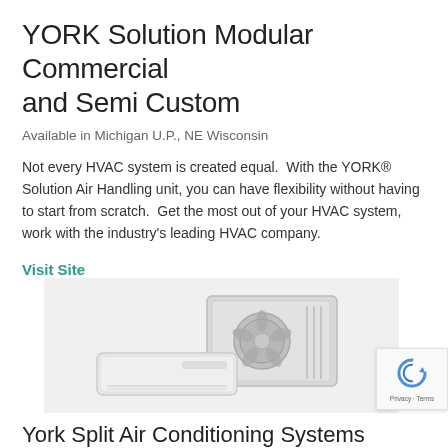YORK Solution Modular Commercial and Semi Custom
Available in Michigan U.P., NE Wisconsin
Not every HVAC system is created equal. With the YORK® Solution Air Handling unit, you can have flexibility without having to start from scratch. Get the most out of your HVAC system, work with the industry's leading HVAC company.
Visit Site
[Figure (photo): Photo of a YORK mini-split air conditioning system showing indoor wall unit and outdoor compressor unit against a light gray background]
York Split Air Conditioning Systems